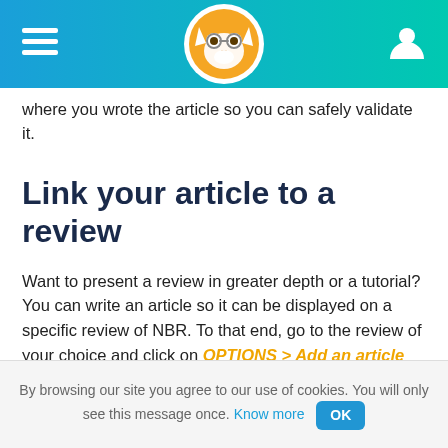[Navigation header with hamburger menu, fox mascot logo, and user icon]
where you wrote the article so you can safely validate it.
Link your article to a review
Want to present a review in greater depth or a tutorial? You can write an article so it can be displayed on a specific review of NBR. To that end, go to the review of your choice and click on OPTIONS > Add an article
Please note that all the links about the requested
By browsing our site you agree to our use of cookies. You will only see this message once. Know more OK